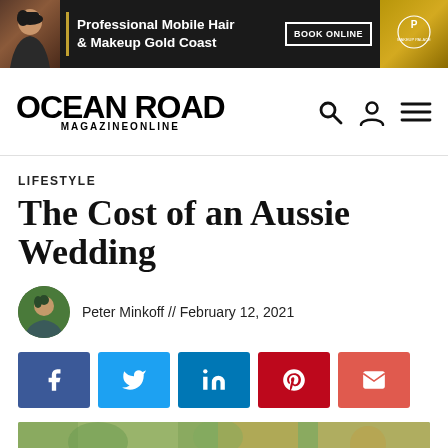[Figure (other): Advertisement banner for Professional Mobile Hair & Makeup Gold Coast with dark background, model photo, BOOK ONLINE button and Makeup Palace logo]
[Figure (logo): Ocean Road Magazine Online logo with navigation icons (search, user, menu)]
LIFESTYLE
The Cost of an Aussie Wedding
Peter Minkoff // February 12, 2021
[Figure (other): Social share buttons: Facebook, Twitter, LinkedIn, Pinterest, Email]
[Figure (photo): Partial view of wedding photo at bottom of page]